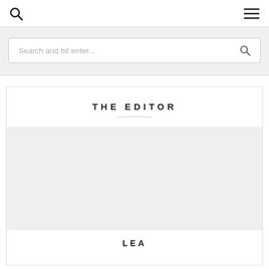Search icon and menu icon
[Figure (screenshot): Search bar with placeholder text 'Search and hit enter...' and a search icon on the right]
THE EDITOR
[Figure (photo): Empty photo placeholder area for editor profile image]
LEA
Editor bio preview text